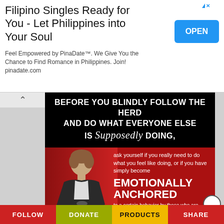[Figure (infographic): Ad banner for PinaDate.com – 'Filipino Singles Ready for You - Let Philippines into Your Soul' with OPEN button]
[Figure (infographic): Motivational infographic from Coach Corey Wayne. Black band at top reads: 'BEFORE YOU BLINDLY FOLLOW THE HERD AND DO WHAT EVERYONE ELSE IS Supposedly DOING,' Below on red background with photo of young man: 'ask yourself if you really need to do what you feel like doing, or if you have simply become EMOTIONALLY ANCHORED to a certain behavior by those who are purposefully trying to manipulate you for their own selfish reasons or financial gain.' Coach Corey Wayne logo at bottom right.]
FOLLOW | DONATE | PRODUCTS | SHARE